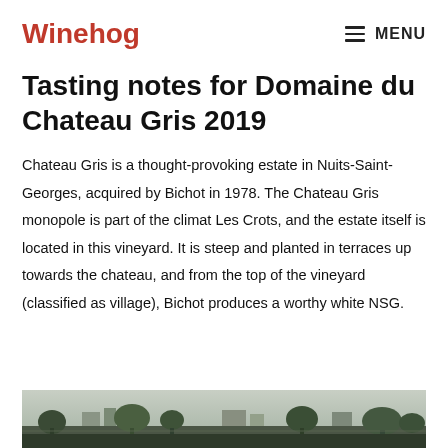Winehog | MENU
Tasting notes for Domaine du Chateau Gris 2019
Chateau Gris is a thought-provoking estate in Nuits-Saint-Georges, acquired by Bichot in 1978. The Chateau Gris monopole is part of the climat Les Crots, and the estate itself is located in this vineyard. It is steep and planted in terraces up towards the chateau, and from the top of the vineyard (classified as village), Bichot produces a worthy white NSG.
[Figure (photo): Landscape photograph showing a vineyard and estate with trees in the foreground, buildings in the background, overcast sky.]